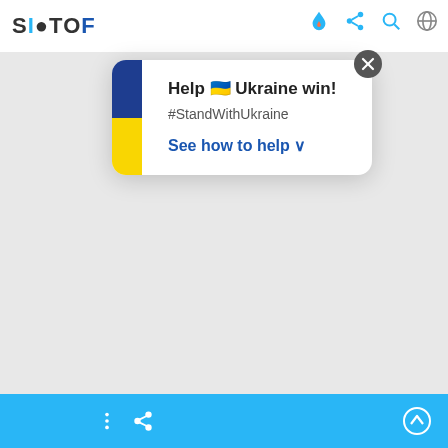[Figure (screenshot): Mobile app screenshot showing a popup card with Ukraine support message. The card has a Ukrainian flag on the left side, a close (X) button at top right, bold text 'Help 🇺🇦 Ukraine win!', hashtag '#StandWithUkraine', and a blue link 'See how to help ∨'. The top bar shows a partial logo and navigation icons (flame, share, search, globe). The bottom bar is light blue with menu dots, share icon, and an up-arrow circle.]